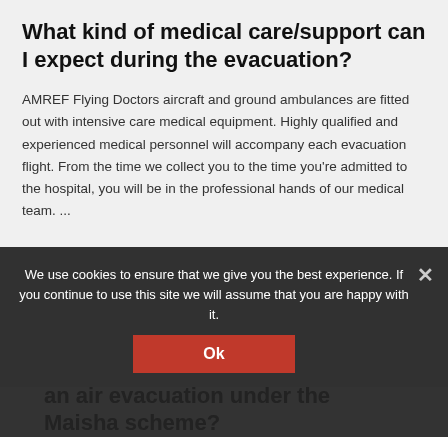What kind of medical care/support can I expect during the evacuation?
AMREF Flying Doctors aircraft and ground ambulances are fitted out with intensive care medical equipment. Highly qualified and experienced medical personnel will accompany each evacuation flight. From the time we collect you to the time you're admitted to the hospital, you will be in the professional hands of our medical team. ...
We use cookies to ensure that we give you the best experience. If you continue to use this site we will assume that you are happy with it.
What medical condition warrants an air evacuation under the Maisha scheme?